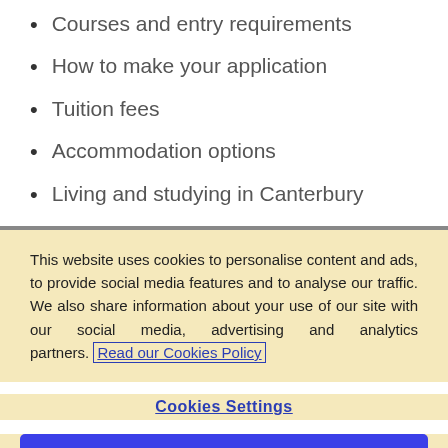Courses and entry requirements
How to make your application
Tuition fees
Accommodation options
Living and studying in Canterbury
This website uses cookies to personalise content and ads, to provide social media features and to analyse our traffic. We also share information about your use of our site with our social media, advertising and analytics partners. Read our Cookies Policy
Cookies Settings
Reject All
Accept All Cookies